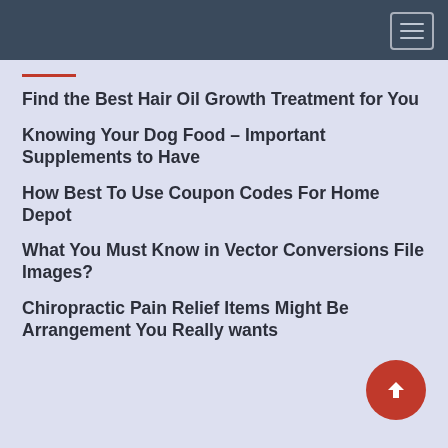Navigation menu header bar
Find the Best Hair Oil Growth Treatment for You
Knowing Your Dog Food – Important Supplements to Have
How Best To Use Coupon Codes For Home Depot
What You Must Know in Vector Conversions File Images?
Chiropractic Pain Relief Items Might Be Arrangement You Really wants